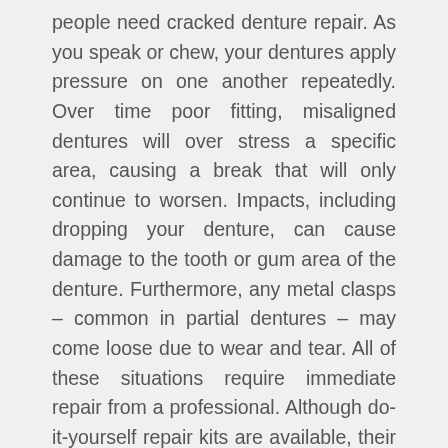people need cracked denture repair. As you speak or chew, your dentures apply pressure on one another repeatedly. Over time poor fitting, misaligned dentures will over stress a specific area, causing a break that will only continue to worsen. Impacts, including dropping your denture, can cause damage to the tooth or gum area of the denture. Furthermore, any metal clasps – common in partial dentures – may come loose due to wear and tear. All of these situations require immediate repair from a professional. Although do-it-yourself repair kits are available, their results are inconsistent and may even cause further issues since they may not address the underlying cause of your cracked dentures. Trust professionals like DDS Dentures + Implant Solutions. Sometimes, misaligned dentures can